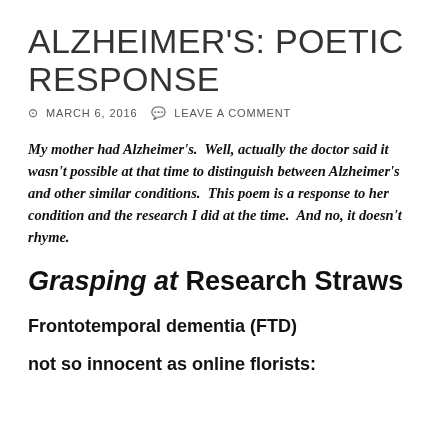ALZHEIMER'S: POETIC RESPONSE
MARCH 6, 2016   LEAVE A COMMENT
My mother had Alzheimer's.  Well, actually the doctor said it wasn't possible at that time to distinguish between Alzheimer's and other similar conditions.  This poem is a response to her condition and the research I did at the time.  And no, it doesn't rhyme.
Grasping at Research Straws
Frontotemporal dementia (FTD)
not so innocent as online florists: